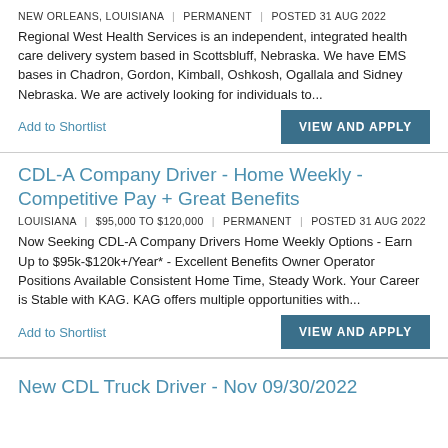NEW ORLEANS, LOUISIANA | PERMANENT | POSTED 31 AUG 2022
Regional West Health Services is an independent, integrated health care delivery system based in Scottsbluff, Nebraska. We have EMS bases in Chadron, Gordon, Kimball, Oshkosh, Ogallala and Sidney Nebraska. We are actively looking for individuals to...
Add to Shortlist
VIEW AND APPLY
CDL-A Company Driver - Home Weekly - Competitive Pay + Great Benefits
LOUISIANA | $95,000 TO $120,000 | PERMANENT | POSTED 31 AUG 2022
Now Seeking CDL-A Company Drivers Home Weekly Options - Earn Up to $95k-$120k+/Year* - Excellent Benefits Owner Operator Positions Available Consistent Home Time, Steady Work. Your Career is Stable with KAG. KAG offers multiple opportunities with...
Add to Shortlist
VIEW AND APPLY
New CDL Truck Driver - Nov 09/30/2022